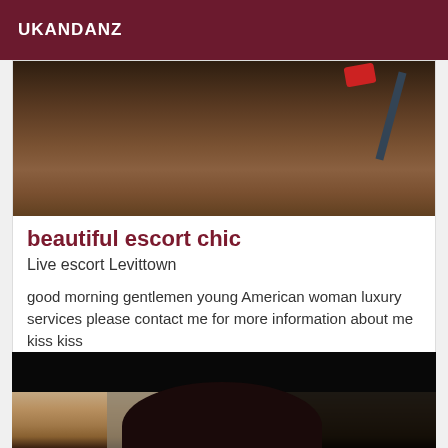UKANDANZ
[Figure (photo): Close-up photo showing curly dark brown hair with what appears to be a red accessory and a dark item in the background]
beautiful escort chic
Live escort Levittown
good morning gentlemen young American woman luxury services please contact me for more information about me kiss kiss
[Figure (photo): Portrait photo of a dark-haired woman against a partially dark background with a decorative frame visible]